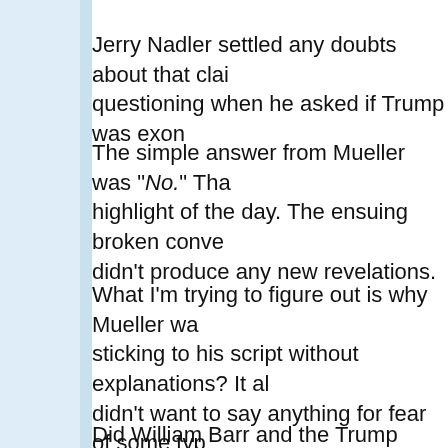Jerry Nadler settled any doubts about that claim during questioning when he asked if Trump was exon
The simple answer from Mueller was "No." That was the highlight of the day. The ensuing broken conve didn't produce any new revelations.
What I'm trying to figure out is why Mueller wa sticking to his script without explanations? It al didn't want to say anything for fear of some typ
Did William Barr and the Trump team convince to say anything more than what was in the rep soldier, I could see this happening.
If so, Mueller can forget about his glorious yea country because when it came time to truly sta